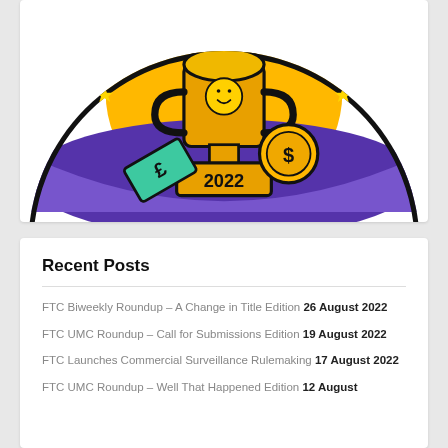[Figure (illustration): A trophy illustration for 2022 with a gold cup, green bank notes with pound symbol, gold coin with dollar symbol, yellow sun-like background, purple curved band, and decorative diamond sparkles. The base of the trophy shows '2022'. Partial text 'BE' on the left and 'SS' on the right at top of circle.]
Recent Posts
FTC Biweekly Roundup – A Change in Title Edition 26 August 2022
FTC UMC Roundup – Call for Submissions Edition 19 August 2022
FTC Launches Commercial Surveillance Rulemaking 17 August 2022
FTC UMC Roundup – Well That Happened Edition 12 August